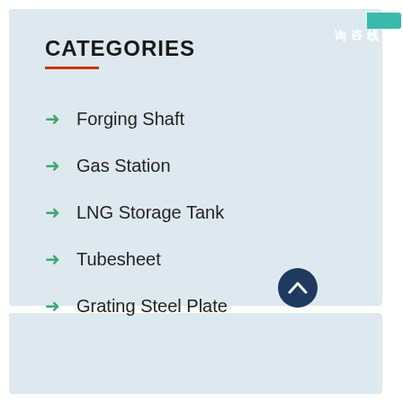CATEGORIES
Forging Shaft
Gas Station
LNG Storage Tank
Tubesheet
Grating Steel Plate
[Figure (photo): Customer support widget showing a woman with headset, '24/7 Online' header in blue, 'PROVIDE SUPPORT Empowering Customer Service' branding, and 'online live' orange button. Chinese vertical tab reads 在线咨询.]